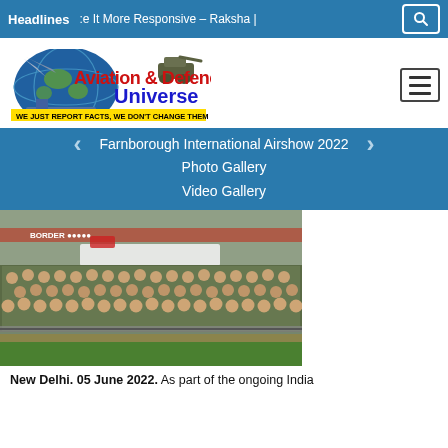Headlines   :e It More Responsive – Raksha |
[Figure (logo): Aviation & Defence Universe logo with globe, aircraft, tank, and ship. Tagline: WE JUST REPORT FACTS, WE DON'T CHANGE THEM]
Farnborough International Airshow 2022
Photo Gallery
Video Gallery
[Figure (photo): Group photo of Indian military personnel in camouflage uniforms standing in rows outside a building with a banner, green lawn in front.]
New Delhi. 05 June 2022. As part of the ongoing India